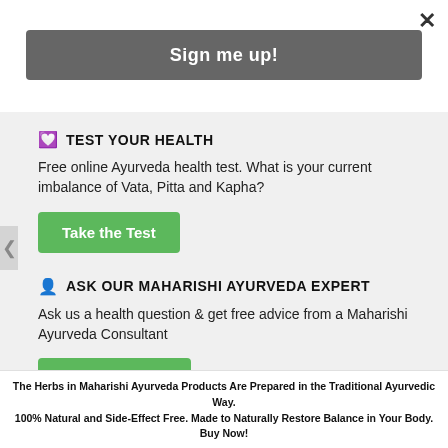×
Sign me up!
🤍 TEST YOUR HEALTH
Free online Ayurveda health test. What is your current imbalance of Vata, Pitta and Kapha?
Take the Test
👤 ASK OUR MAHARISHI AYURVEDA EXPERT
Ask us a health question & get free advice from a Maharishi Ayurveda Consultant
Ask our expert
The Herbs in Maharishi Ayurveda Products Are Prepared in the Traditional Ayurvedic Way. 100% Natural and Side-Effect Free. Made to Naturally Restore Balance in Your Body. Buy Now!